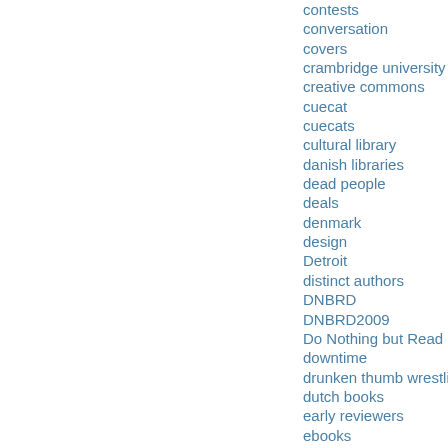contests
conversation
covers
crambridge university
creative commons
cuecat
cuecats
cultural library
danish libraries
dead people
deals
denmark
design
Detroit
distinct authors
DNBRD
DNBRD2009
Do Nothing but Read Day
downtime
drunken thumb wrestling
dutch books
early reviewers
ebooks
email
employee statements
employees
employment
ethan zuckerman
event
events
everything is